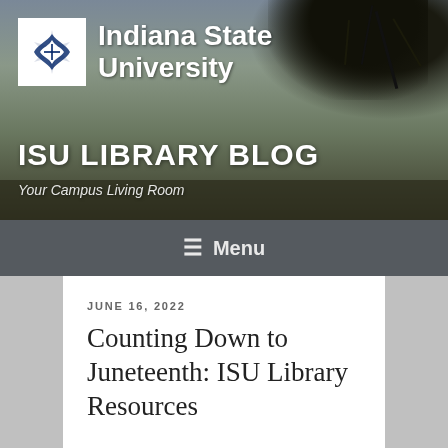[Figure (photo): ISU Library Blog header photo showing Indiana State University logo and campus trees against a dusk sky, with blog title and subtitle overlaid]
≡ Menu
JUNE 16, 2022
Counting Down to Juneteenth: ISU Library Resources